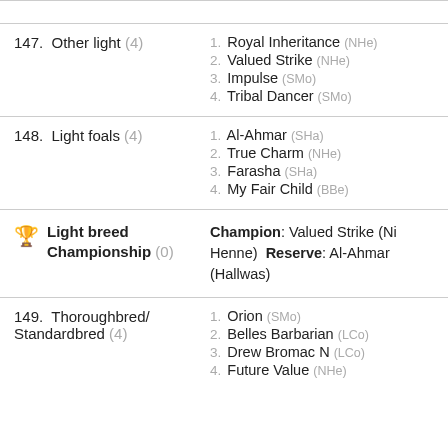147. Other light (4) — 1. Royal Inheritance (NHe), 2. Valued Strike (NHe), 3. Impulse (SMo), 4. Tribal Dancer (SMo)
148. Light foals (4) — 1. Al-Ahmar (SHa), 2. True Charm (NHe), 3. Farasha (SHa), 4. My Fair Child (BBe)
Light breed Championship (0) — Champion: Valued Strike (Ni Henne)  Reserve: Al-Ahmar (Hallwas)
149. Thoroughbred/Standardbred (4) — 1. Orion (SMo), 2. Belles Barbarian (LCo), 3. Drew Bromac N (LCo), 4. Future Value (NHe)